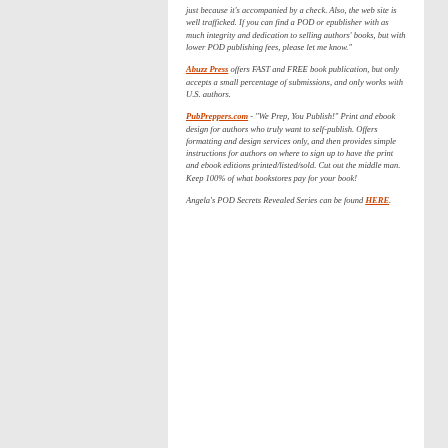just because it's accompanied by a check. Also, the web site is well trafficked. If you can find a POD or epublisher with as much integrity and dedication to selling authors' books, but with lower POD publishing fees, please let me know."
Abuzz Press offers FAST and FREE book publication, but only accepts a small percentage of submissions, and only works with U.S. authors.
PubPreppers.com - "We Prep, You Publish!" Print and ebook design for authors who truly want to self-publish. Offers formatting and design services only, and then provides simple instructions for authors on where to sign up to have the print and ebook editions printed/listed/sold. Cut out the middle man. Keep 100% of what bookstores pay for your book!
Angela's POD Secrets Revealed Series can be found HERE.